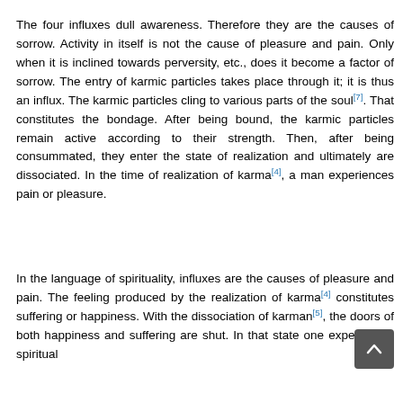The four influxes dull awareness. Therefore they are the causes of sorrow. Activity in itself is not the cause of pleasure and pain. Only when it is inclined towards perversity, etc., does it become a factor of sorrow. The entry of karmic particles takes place through it; it is thus an influx. The karmic particles cling to various parts of the soul[7]. That constitutes the bondage. After being bound, the karmic particles remain active according to their strength. Then, after being consummated, they enter the state of realization and ultimately are dissociated. In the time of realization of karma[4], a man experiences pain or pleasure.
In the language of spirituality, influxes are the causes of pleasure and pain. The feeling produced by the realization of karma[4] constitutes suffering or happiness. With the dissociation of karman[5], the doors of both happiness and suffering are shut. In that state one experiences spiritual